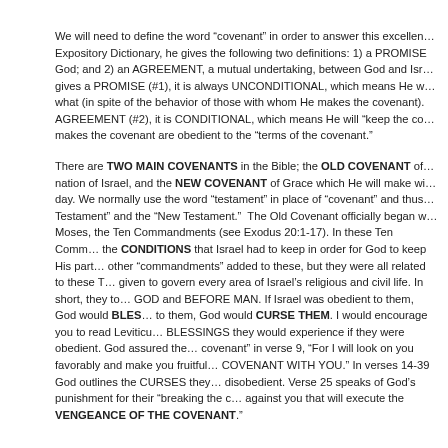We will need to define the word “covenant” in order to answer this excellent question. In W.E. Vine’s Expository Dictionary, he gives the following two definitions: 1) a PROMISE, an undertaking on the part of God; and 2) an AGREEMENT, a mutual undertaking, between God and Israel. When God gives a PROMISE (#1), it is always UNCONDITIONAL, which means He will keep the covenant no matter what (in spite of the behavior of those with whom He makes the covenant). When God makes an AGREEMENT (#2), it is CONDITIONAL, which means He will “keep the covenant” only if those with whom He makes the covenant are obedient to the “terms of the covenant.”
There are TWO MAIN COVENANTS in the Bible; the OLD COVENANT of Law which He made with the nation of Israel, and the NEW COVENANT of Grace which He will make with the whole world some day. We normally use the word “testament” in place of “covenant” and thus we call them the “Old Testament” and the “New Testament.” The Old Covenant officially began when God gave to Moses, the Ten Commandments (see Exodus 20:1-17). In these Ten Commandments God listed the CONDITIONS that Israel had to keep in order for God to keep His part of the covenant. There were other “commandments” added to these, but they were all related to these Ten Commandments and given to govern every area of Israel’s religious and civil life. In short, they told Israel how to live BEFORE GOD and BEFORE MAN. If Israel was obedient to them, God would BLESS THEM. If they were disobedient to them, God would CURSE THEM. I would encourage you to read Leviticus 26 and note the BLESSINGS they would experience if they were obedient. God assured them He would “keep the covenant” in verse 9, “For I will look on you favorably and make you fruitful…AND I WILL CONFIRM MY COVENANT WITH YOU.” In verses 14-39 God outlines the CURSES they would experience if they were disobedient. Verse 25 speaks of God’s punishment for their “breaking the covenant,” “I will bring a sword against you that will execute the VENGEANCE OF THE COVENANT.”